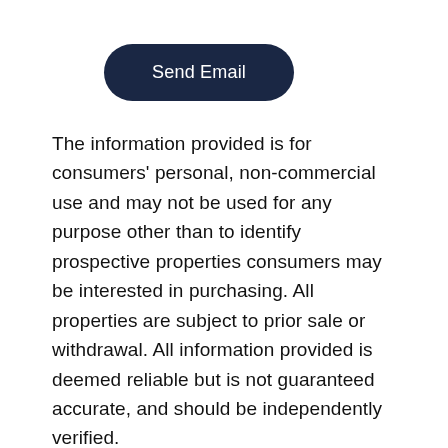[Figure (other): Dark navy rounded pill-shaped button with white text reading 'Send Email']
The information provided is for consumers' personal, non-commercial use and may not be used for any purpose other than to identify prospective properties consumers may be interested in purchasing. All properties are subject to prior sale or withdrawal. All information provided is deemed reliable but is not guaranteed accurate, and should be independently verified.
The multiple listing information is provided by Park City Board of Realtors® from a copyrighted compilation of listings. The compilation of listings and each individual